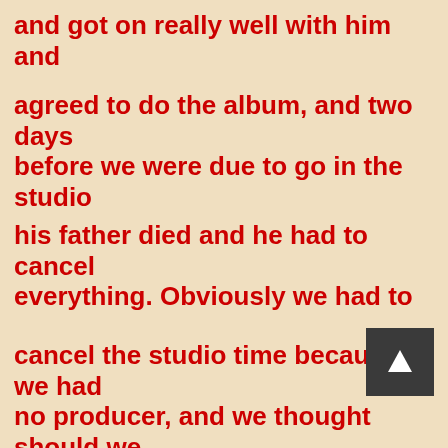and got on really well with him and
agreed to do the album, and two days before we were due to go in the studio
his father died and he had to cancel everything.  Obviously we had to
cancel the studio time because we had no producer, and we thought should we
work with another producer and who do we go and work with?  We didn't want
to go back to Alan and then we said we